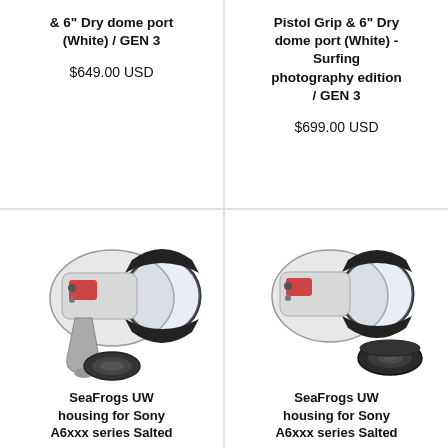& 6" Dry dome port (White) / GEN 3
$649.00 USD
Pistol Grip & 6" Dry dome port (White) - Surfing photography edition / GEN 3
$699.00 USD
[Figure (photo): Underwater camera housing with dome port and pistol grip, white body with black dome]
SeaFrogs UW housing for Sony A6xxx series Salted
[Figure (photo): Underwater camera housing with dome port, white body with black dome and separate lens accessory]
SeaFrogs UW housing for Sony A6xxx series Salted